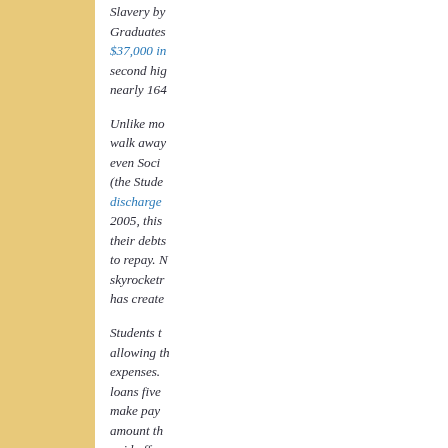Slavery by Graduates: $37,000 in second hi nearly 164...
Unlike mo walk away even Soci (the Stude discharge 2005, this their debts to repay. N skyrocketre has create
Students t allowing th expenses. loans five make pay amount th paid off, a
All of this ...